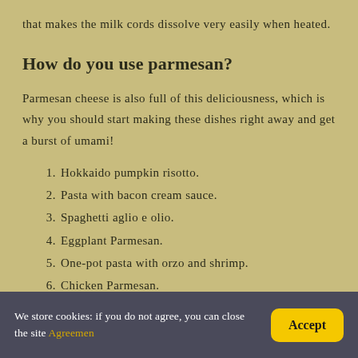that makes the milk cords dissolve very easily when heated.
How do you use parmesan?
Parmesan cheese is also full of this deliciousness, which is why you should start making these dishes right away and get a burst of umami!
1. Hokkaido pumpkin risotto.
2. Pasta with bacon cream sauce.
3. Spaghetti aglio e olio.
4. Eggplant Parmesan.
5. One-pot pasta with orzo and shrimp.
6. Chicken Parmesan.
7. (partially visible)
We store cookies: if you do not agree, you can close the site Agreemen  Accept